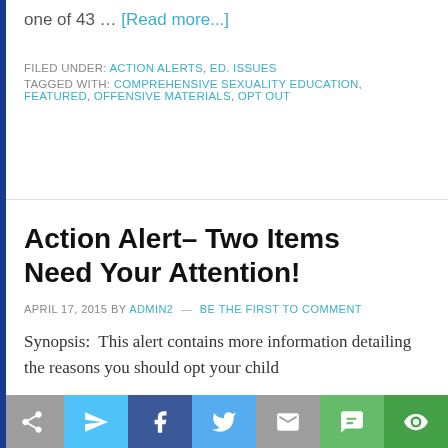one of 43 … [Read more...]
FILED UNDER: ACTION ALERTS, ED. ISSUES
TAGGED WITH: COMPREHENSIVE SEXUALITY EDUCATION, FEATURED, OFFENSIVE MATERIALS, OPT OUT
Action Alert– Two Items Need Your Attention!
APRIL 17, 2015 BY ADMIN2 — BE THE FIRST TO COMMENT
Synopsis:  This alert contains more information detailing the reasons you should opt your child